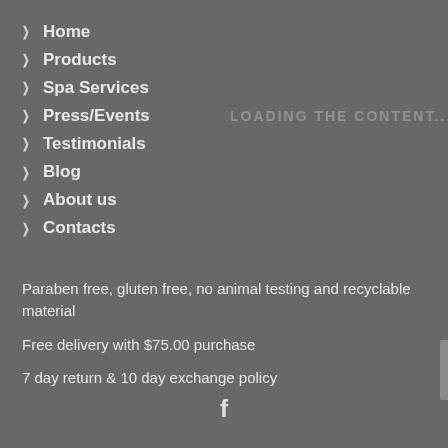Home
Products
Spa Services
Press/Events
Testimonials
Blog
About us
Contacts
LOADING THE CONTENT...
Paraben free, gluten free, no animal testing and recyclable material
Free delivery with $75.00 purchase
7 day return & 10 day exchange policy
[Figure (illustration): Facebook social media icon (f logo) centered at bottom of page]